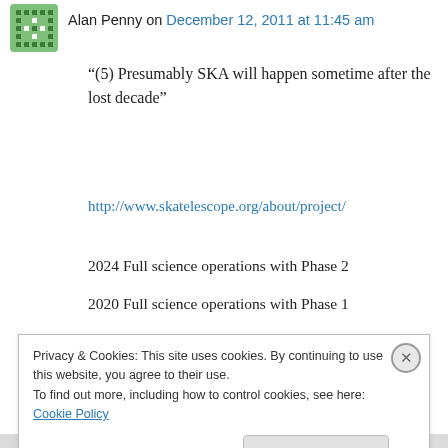Alan Penny on December 12, 2011 at 11:45 am
“(5) Presumably SKA will happen sometime after the lost decade”
http://www.skatelescope.org/about/project/
2024 Full science operations with Phase 2
2020 Full science operations with Phase 1
2018-23 Phase 2 construction
2016-19 Phase 1 construction
2013-15 Detailed design and pre-construction
Privacy & Cookies: This site uses cookies. By continuing to use this website, you agree to their use. To find out more, including how to control cookies, see here: Cookie Policy
Close and accept